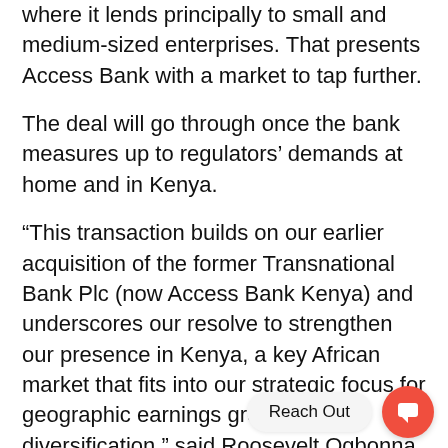where it lends principally to small and medium-sized enterprises. That presents Access Bank with a market to tap further.
The deal will go through once the bank measures up to regulators' demands at home and in Kenya.
“This transaction builds on our earlier acquisition of the former Transnational Bank Plc (now Access Bank Kenya) and underscores our resolve to strengthen our presence in Kenya, a key African market that fits into our strategic focus for geographic earnings growth and diversification,” said Roosevelt Ogbonna, CEO of Access Bank.